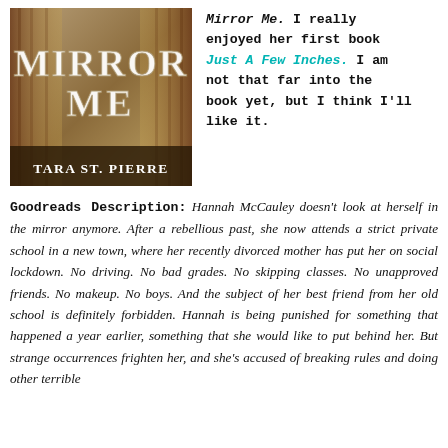[Figure (illustration): Book cover of 'Mirror Me' by Tara St. Pierre. Shows a stylized cover with large letters spelling MIRROR ME and the author name TARA ST. PIERRE at the bottom.]
Mirror Me. I really enjoyed her first book Just A Few Inches. I am not that far into the book yet, but I think I'll like it.
Goodreads Description: Hannah McCauley doesn't look at herself in the mirror anymore. After a rebellious past, she now attends a strict private school in a new town, where her recently divorced mother has put her on social lockdown. No driving. No bad grades. No skipping classes. No unapproved friends. No makeup. No boys. And the subject of her best friend from her old school is definitely forbidden. Hannah is being punished for something that happened a year earlier, something that she would like to put behind her. But strange occurrences frighten her, and she's accused of breaking rules and doing other terrible